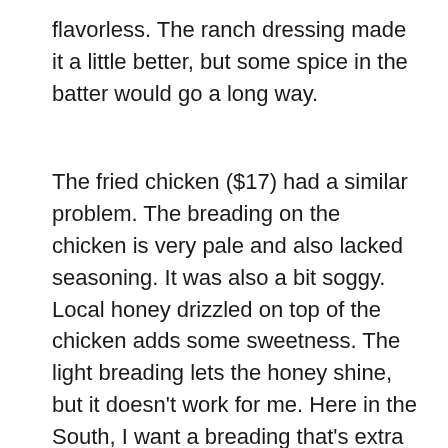flavorless. The ranch dressing made it a little better, but some spice in the batter would go a long way.
The fried chicken ($17) had a similar problem. The breading on the chicken is very pale and also lacked seasoning. It was also a bit soggy. Local honey drizzled on top of the chicken adds some sweetness. The light breading lets the honey shine, but it doesn't work for me. Here in the South, I want a breading that's extra crispy and packed with flavor. The chicken is sided with a generous portion of macaroni and cheese gratin that's extra creamy and cheesy and a bowl of collard greens that could use a little more vinegar. In fact, our server asked us if we would like a side